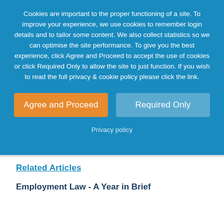Cookies are important to the proper functioning of a site. To improve your experience, we use cookies to remember login details and to tailor some content. We also collect statistics so we can optimise the site performance. To give you the best experience, click Agree and Proceed to accept the use of cookies or click Required Only to allow the site to just function. If you wish to read the full privacy & cookie policy please click the link.
Agree and Proceed
Required Only
Privacy policy
Related Articles
Employment Law - A Year in Brief